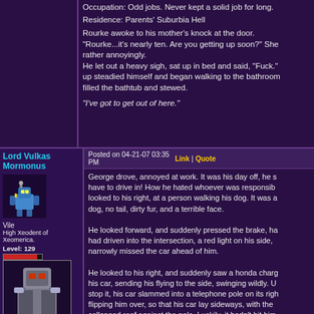Occupation: Odd jobs. Never kept a solid job for long.
Residence: Parents' Suburbia Hell
Rourke awoke to his mother's knock at the door. "Rourke...it's nearly ten. Are you getting up soon?" She rather annoyingly. He let out a heavy sigh, sat up in bed and said, "Fuck." up steadied himself and began walking to the bathroom filled the bathtub and stewed.
"I've got to get out of here."
Lord Vulkas Mormonus
Posted on 04-21-07 03:35 PM
Link | Quote
George drove, annoyed at work. It was his day off, he s have to drive in! How he hated whoever was responsible looked to his right, at a person walking his dog. It was a dog, no tail, dirty fur, and a terrible face.
He looked forward, and suddenly pressed the brake, ha had driven into the intersection, a red light on his side, narrowly missed the car ahead of him.
He looked to his right, and suddenly saw a honda char his car, sending his flying to the side, swinging wildly. U stop it, his car slammed into a telephone pole on its rig flipping him over, so that his car lay sideways, with the collapsed roof against the pole. Luckily, it hadn't hit him
Vile
High Xeodent of Xeomerica.
Level: 129
Posts:2086/4539
EXP:24663245
For next:386409
Since: 10-29-04
From: North Carolina, United States, World, Sol System